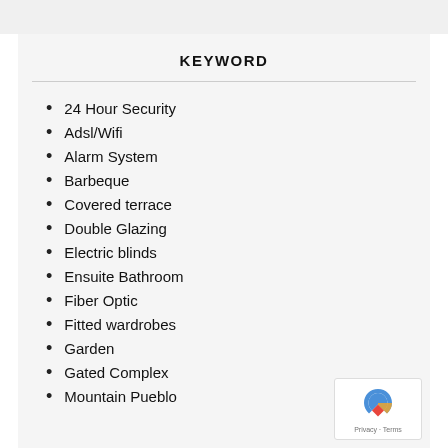KEYWORD
24 Hour Security
Adsl/Wifi
Alarm System
Barbeque
Covered terrace
Double Glazing
Electric blinds
Ensuite Bathroom
Fiber Optic
Fitted wardrobes
Garden
Gated Complex
Mountain Pueblo